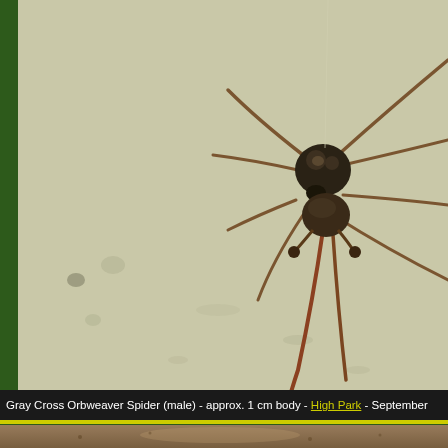[Figure (photo): Close-up photograph of a Gray Cross Orbweaver Spider (male) hanging, showing dark cephalothorax and brown legs spread wide, against a pale beige/cream textured background. The spider's body is approximately 1 cm, with long spindly brown legs and visible pedipalps. The image is cropped so portions of legs extend off the right and top edges.]
Gray Cross Orbweaver Spider (male) - approx. 1 cm body - High Park - September
[Figure (photo): Partial bottom strip showing another nature photograph, mostly cropped — shows brownish ground/bark texture.]